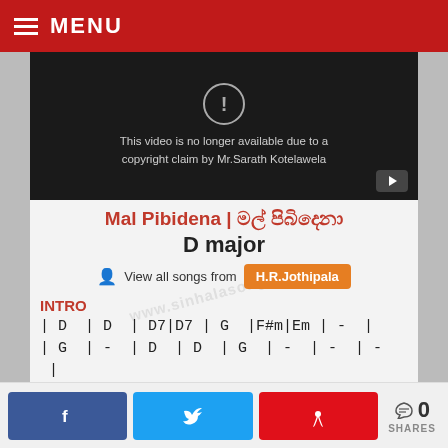MENU
[Figure (screenshot): YouTube video unavailable message: 'This video is no longer available due to a copyright claim by Mr.Sarath Kotelawela']
Mal Pibidena | මල් පිබිදෙනා
D major
View all songs from H.R.Jothipala
INTRO
| D | D | D7|D7 | G |F#m|Em | - |
| G | - | D | D | G | - | - | - |
| G | - | | A | | G | |